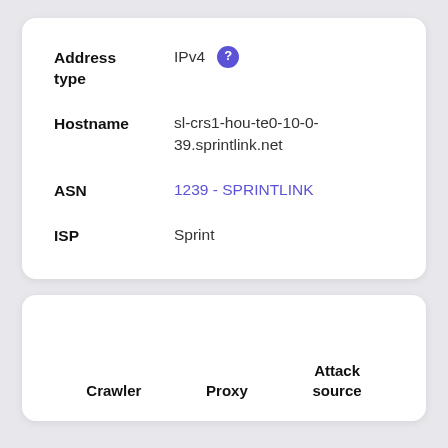| Address type | IPv4 |
| Hostname | sl-crs1-hou-te0-10-0-39.sprintlink.net |
| ASN | 1239 - SPRINTLINK |
| ISP | Sprint |
| Crawler | Proxy | Attack source |
| --- | --- | --- |